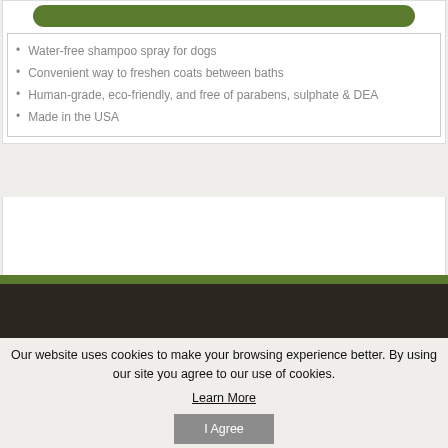[Figure (other): Green rounded button element at the top of the page]
Water-free shampoo spray for dogs
Convenient way to freshen coats between baths
Human-grade, eco-friendly, and free of parabens, sulphate & DEA
Made in the USA
[Figure (other): Green strip and dark brown footer bar]
Our website uses cookies to make your browsing experience better. By using our site you agree to our use of cookies.
Learn More
I Agree